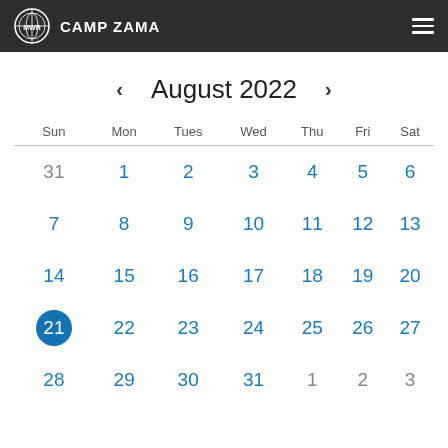MWR CAMP ZAMA
August 2022
| Sun | Mon | Tues | Wed | Thu | Fri | Sat |
| --- | --- | --- | --- | --- | --- | --- |
| 31 | 1 | 2 | 3 | 4 | 5 | 6 |
| 7 | 8 | 9 | 10 | 11 | 12 | 13 |
| 14 | 15 | 16 | 17 | 18 | 19 | 20 |
| 21 | 22 | 23 | 24 | 25 | 26 | 27 |
| 28 | 29 | 30 | 31 | 1 | 2 | 3 |